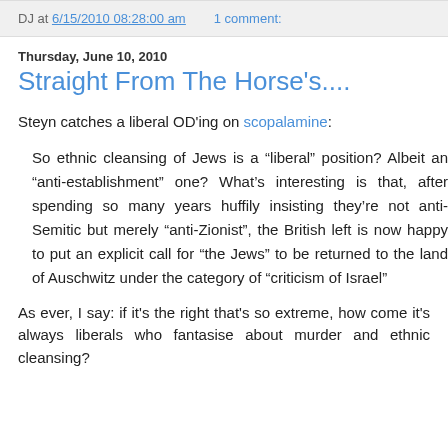DJ at 6/15/2010 08:28:00 am   1 comment:
Thursday, June 10, 2010
Straight From The Horse's....
Steyn catches a liberal OD'ing on scopalamine:
So ethnic cleansing of Jews is a “liberal” position? Albeit an “anti-establishment” one? What’s interesting is that, after spending so many years huffily insisting they’re not anti-Semitic but merely “anti-Zionist”, the British left is now happy to put an explicit call for “the Jews” to be returned to the land of Auschwitz under the category of “criticism of Israel”
As ever, I say: if it's the right that's so extreme, how come it's always liberals who fantasise about murder and ethnic cleansing?